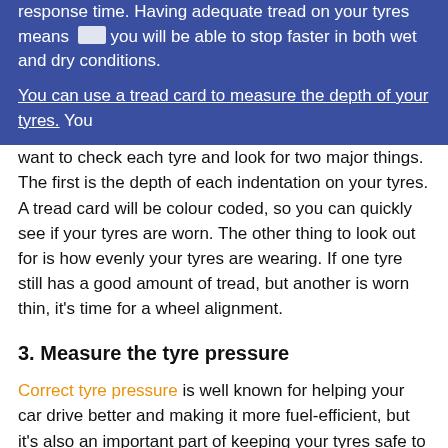response time. Having adequate tread on your tyres means you will be able to stop faster in both wet and dry conditions.
You can use a tread card to measure the depth of your tyres. You want to check each tyre and look for two major things. The first is the depth of each indentation on your tyres. A tread card will be colour coded, so you can quickly see if your tyres are worn. The other thing to look out for is how evenly your tyres are wearing. If one tyre still has a good amount of tread, but another is worn thin, it's time for a wheel alignment.
3. Measure the tyre pressure
Correct tyre pressure is well known for helping your car drive better and making it more fuel-efficient, but it's also an important part of keeping your tyres safe to drive on. You can find your car's optimal tyre pressure in the user manual, or on the placard around the driver-side door.
There are two ways to check your tyre pressure. You can, of course, head to most servos and check using the air pressure systems they have. You can also buy a pressure checker from most automotive stores, allowing you to check more regularly. If you notice that one or more of your tyres loses pressure more...